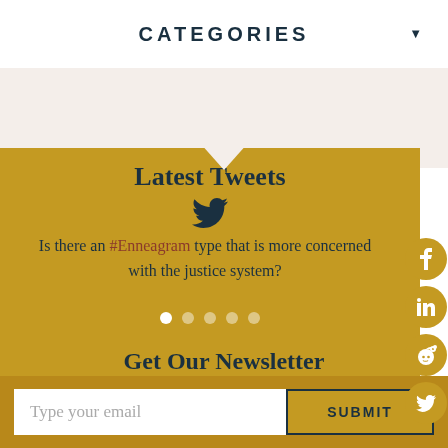CATEGORIES
Latest Tweets
Is there an #Enneagram type that is more concerned with the justice system?
Get Our Newsletter
Type your email
SUBMIT